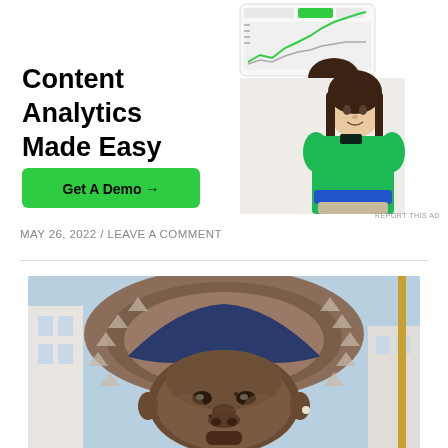[Figure (illustration): Advertisement banner: Content Analytics Made Easy with Get A Demo button, showing a screenshot of a dashboard and a woman in a green sweater]
REPORT THIS AD
MAY 26, 2022 / LEAVE A COMMENT
[Figure (photo): Close-up photo of a man's face wearing a traditional decorative hat/headpiece with geometric patterns, outdoors with buildings in background]